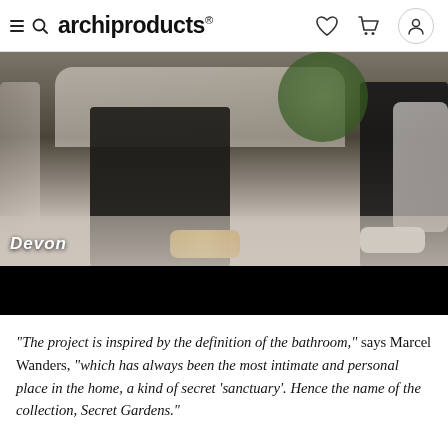archiproducts
[Figure (photo): Two people seated/kneeling in a styled interior setting with a white armchair, decorative floor, and plants. A 'devon' watermark is visible at bottom left. Below the photo is a black bar (video player controls area).]
"The project is inspired by the definition of the bathroom," says Marcel Wanders, "which has always been the most intimate and personal place in the home, a kind of secret 'sanctuary'. Hence the name of the collection, Secret Gardens."